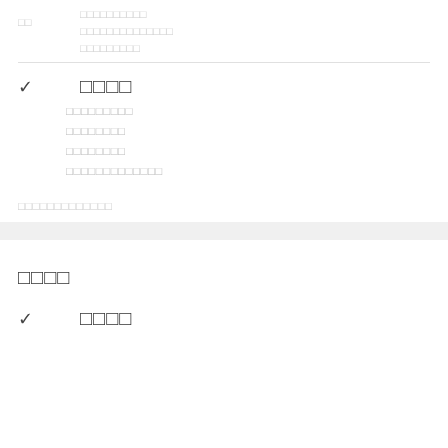□□
□□□□□□□□□□
□□□□□□□□□□□□□□
□□□□□□□□□
✓  □□□□
□□□□□□□□□
□□□□□□□□
□□□□□□□□
□□□□□□□□□□□□□
□□□□□□□□□□□□□
□□□□
✓  □□□□